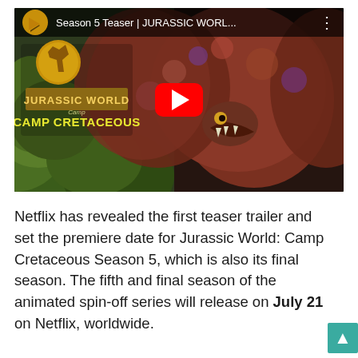[Figure (screenshot): YouTube video thumbnail showing 'Season 5 Teaser | JURASSIC WORL...' for Jurassic World Camp Cretaceous, with a dilophosaurus creature with frilled neck spread wide and a red YouTube play button in the center.]
Netflix has revealed the first teaser trailer and set the premiere date for Jurassic World: Camp Cretaceous Season 5, which is also its final season. The fifth and final season of the animated spin-off series will release on July 21 on Netflix, worldwide.